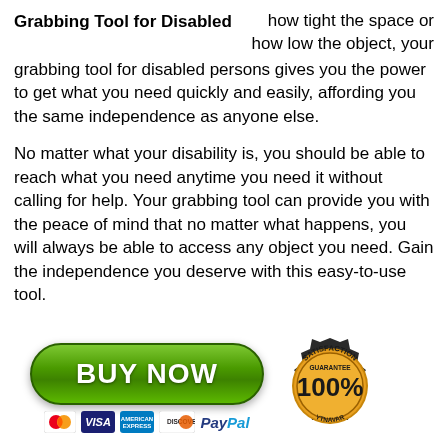Grabbing Tool for Disabled
how tight the space or how low the object, your grabbing tool for disabled persons gives you the power to get what you need quickly and easily, affording you the same independence as anyone else.
No matter what your disability is, you should be able to reach what you need anytime you need it without calling for help. Your grabbing tool can provide you with the peace of mind that no matter what happens, you will always be able to access any object you need. Gain the independence you deserve with this easy-to-use tool.
[Figure (other): Green BUY NOW button with payment icons (Mastercard, Visa, Amex, Discover, PayPal) and a gold 100% Satisfaction Guarantee badge]